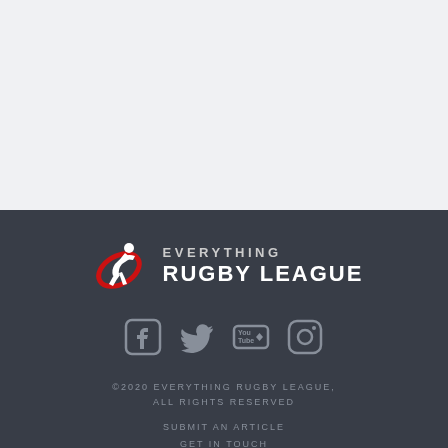[Figure (logo): Everything Rugby League logo with rugby player silhouette in red and white, text reading EVERYTHING RUGBY LEAGUE]
[Figure (other): Social media icons: Facebook, Twitter, YouTube, Instagram in grey]
©2020 EVERYTHING RUGBY LEAGUE, ALL RIGHTS RESERVED
SUBMIT AN ARTICLE
GET IN TOUCH